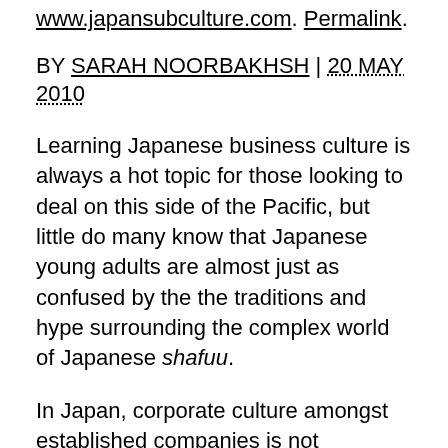This article first appeared on www.japansubculture.com. Permalink.
BY SARAH NOORBAKHSH | 20 MAY 2010
Learning Japanese business culture is always a hot topic for those looking to deal on this side of the Pacific, but little do many know that Japanese young adults are almost just as confused by the the traditions and hype surrounding the complex world of Japanese shafuu.
In Japan, corporate culture amongst established companies is not something that is